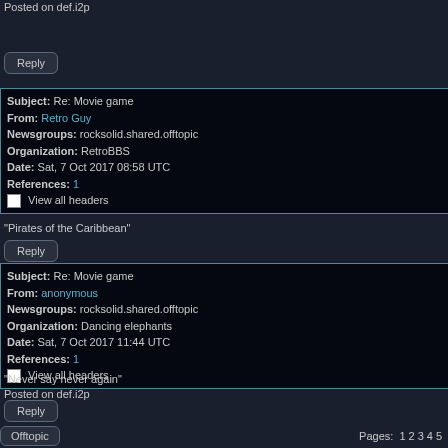Posted on def.i2p
Reply
| Field | Value |
| --- | --- |
| Subject: | Re: Movie game |
| From: | Retro Guy |
| Newsgroups: | rocksolid.shared.offtopic |
| Organization: | RetroBBS |
| Date: | Sat, 7 Oct 2017 08:58 UTC |
| References: | 1 |
|  | View all headers |
"Pirates of the Caribbean"
Reply
| Field | Value |
| --- | --- |
| Subject: | Re: Movie game |
| From: | anonymous |
| Newsgroups: | rocksolid.shared.offtopic |
| Organization: | Dancing elephants |
| Date: | Sat, 7 Oct 2017 11:44 UTC |
| References: | 1 |
|  | View all headers |
"Never say never again"
Posted on def.i2p
Reply
Offtopic   Pages: 1 2 3 4 5